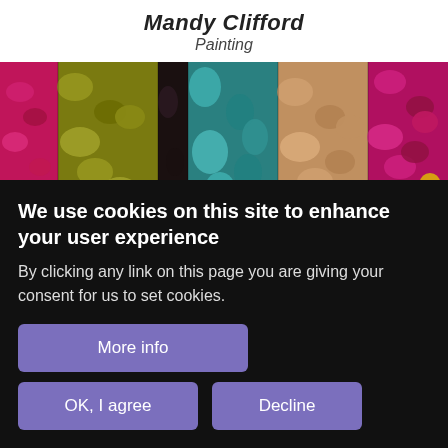Mandy Clifford
Painting
[Figure (photo): Close-up photograph of colorful crocheted or knitted textile with yarns in magenta, yellow-green, teal, brown/tan, and dark colors creating a textured pattern.]
We use cookies on this site to enhance your user experience
By clicking any link on this page you are giving your consent for us to set cookies.
More info
OK, I agree
Decline